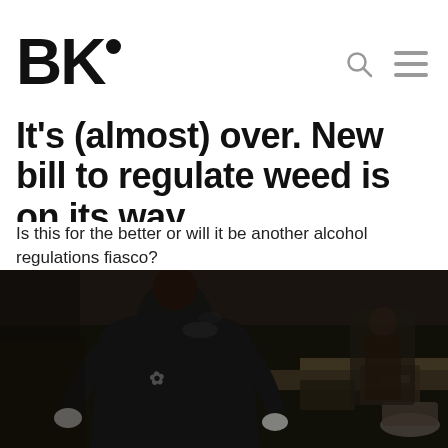BK•
It's (almost) over. New bill to regulate weed is on its way
Is this for the better or will it be another alcohol regulations fiasco?
[Figure (photo): Dark kitchen scene with a person in a black t-shirt working at a restaurant kitchen counter, viewed from behind, with kitchen equipment and another person visible in the background.]